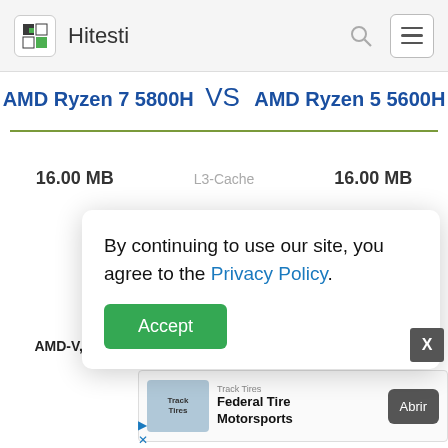Hitesti
AMD Ryzen 7 5800H VS AMD Ryzen 5 5600H
| Value | Spec | Value |
| --- | --- | --- |
| 16.00 MB | L3-Cache | 16.00 MB |
| AMD-V, SEV | Virtualization | AMD-V, SEV |
By continuing to use our site, you agree to the Privacy Policy.
Accept
[Figure (other): Track Tires - Federal Tire Motorsports advertisement banner with Abrir button]